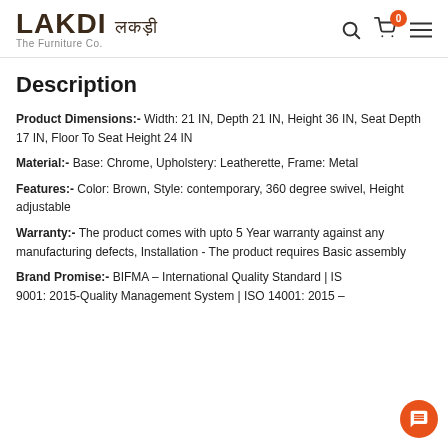LAKDI लकड़ी - The Furniture Co.
Description
Product Dimensions:- Width: 21 IN, Depth 21 IN, Height 36 IN, Seat Depth 17 IN, Floor To Seat Height 24 IN
Material:- Base: Chrome, Upholstery: Leatherette, Frame: Metal
Features:- Color: Brown, Style: contemporary, 360 degree swivel, Height adjustable
Warranty:- The product comes with upto 5 Year warranty against any manufacturing defects, Installation - The product requires Basic assembly
Brand Promise:- BIFMA – International Quality Standard | ISO 9001: 2015-Quality Management System | ISO 14001: 2015 –